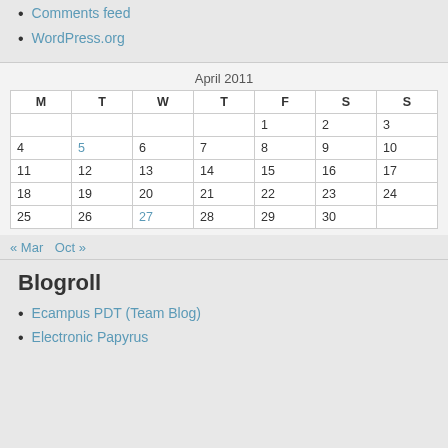Comments feed
WordPress.org
| M | T | W | T | F | S | S |
| --- | --- | --- | --- | --- | --- | --- |
|  |  |  |  | 1 | 2 | 3 |
| 4 | 5 | 6 | 7 | 8 | 9 | 10 |
| 11 | 12 | 13 | 14 | 15 | 16 | 17 |
| 18 | 19 | 20 | 21 | 22 | 23 | 24 |
| 25 | 26 | 27 | 28 | 29 | 30 |  |
« Mar   Oct »
Blogroll
Ecampus PDT (Team Blog)
Electronic Papyrus